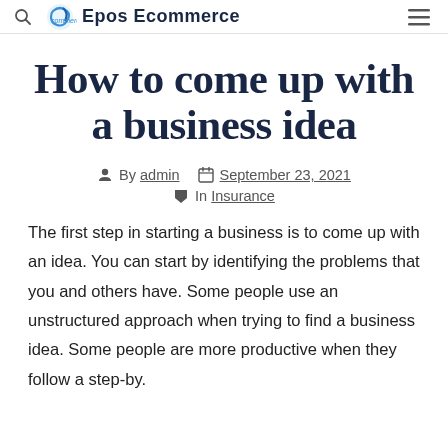Epos Ecommerce
How to come up with a business idea
By admin  September 23, 2021  In Insurance
The first step in starting a business is to come up with an idea. You can start by identifying the problems that you and others have. Some people use an unstructured approach when trying to find a business idea. Some people are more productive when they follow a step-by.